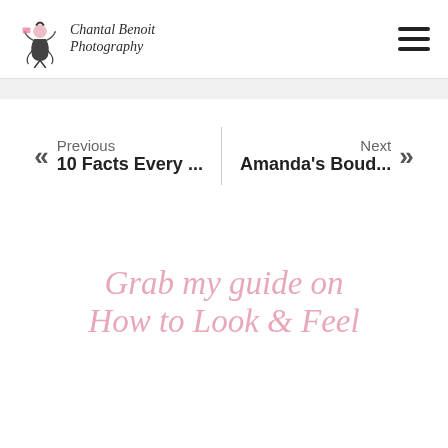[Figure (logo): Chantal Benoit Photography logo with stylized female figure in pink and black, script text]
Previous
10 Facts Every ...
Next
Amanda's Boud...
Grab my guide on
How to Look & Feel